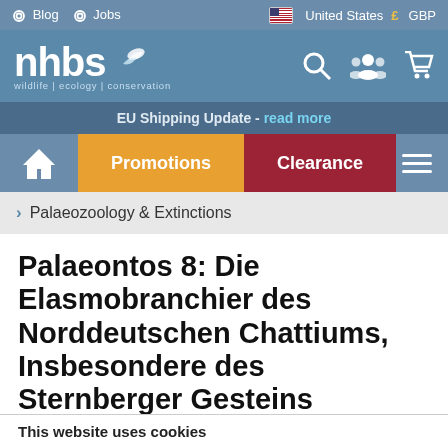Blog | Jobs | United States | GBP
[Figure (logo): NHBS wildlife | ecology | conservation logo with search, user, and cart icons]
EU Shipping Update - read more
Promotions | Clearance
> Palaeozoology & Extinctions
Palaeontos 8: Die Elasmobranchier des Norddeutschen Chattiums, Insbesondere des Sternberger Gesteins (Eochattium, Oberes Oligozän)
This website uses cookies